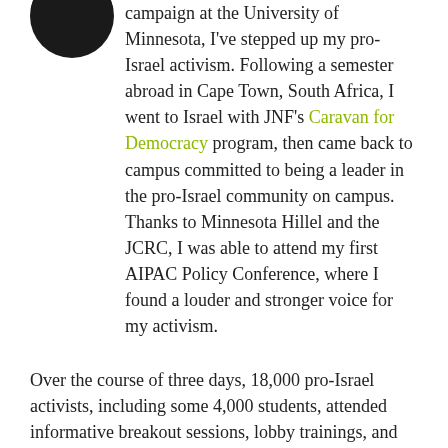[Figure (photo): Circular avatar/profile photo with dark background, partially cropped at top]
campaign at the University of Minnesota, I've stepped up my pro-Israel activism. Following a semester abroad in Cape Town, South Africa, I went to Israel with JNF's Caravan for Democracy program, then came back to campus committed to being a leader in the pro-Israel community on campus. Thanks to Minnesota Hillel and the JCRC, I was able to attend my first AIPAC Policy Conference, where I found a louder and stronger voice for my activism.
Over the course of three days, 18,000 pro-Israel activists, including some 4,000 students, attended informative breakout sessions, lobby trainings, and listened to a high-profile and diverse selection of elected officials, community leaders, and inspirational Israeli success stories. Support for Israel is unique because it's undeniably bipartisan (Reps. Paul Ryan and Nancy Pelosi, Sens. Chuck Schumer and Mitch